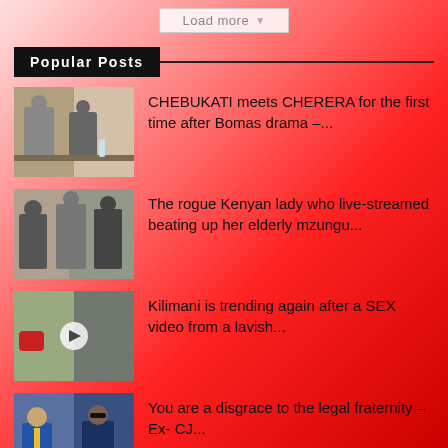Load more
Popular Posts
CHEBUKATI meets CHERERA for the first time after Bomas drama –...
The rogue Kenyan lady who live-streamed beating up her elderly mzungu...
Kilimani is trending again after a SEX video from a lavish...
You are a disgrace to the legal fraternity – Ex- CJ...